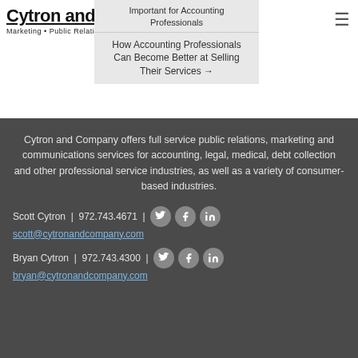Cytron and Company
Marketing • Public Relations • Communications
Important for Accounting Professionals
How Accounting Professionals Can Become Better at Selling Their Services →
Cytron and Company offers full service public relations, marketing and communications services for accounting, legal, medical, debt collection and other professional service industries, as well as a variety of consumer-based industries.
Scott Cytron  |  972.743.4671  |  scott@cytronandcompany.com
Bryan Cytron  |  972.743.4300  |  bryan@cytronandcompany.com